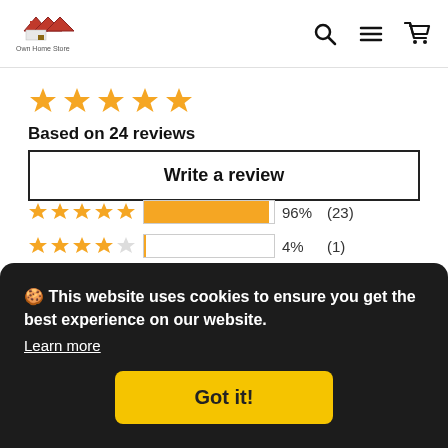Own Home Store
[Figure (other): Star rating: 5 gold stars]
Based on 24 reviews
Write a review
[Figure (bar-chart): Review rating distribution]
Most Recent
01/27/2022
🍪 This website uses cookies to ensure you get the best experience on our website. Learn more
Got it!